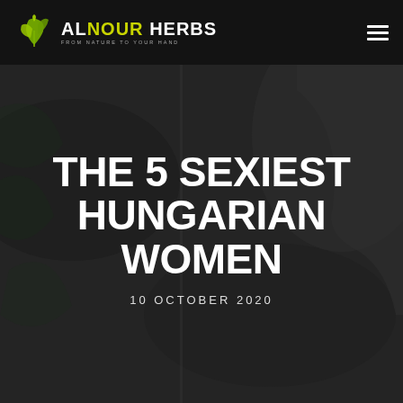[Figure (screenshot): Dark background webpage screenshot showing herb/garden themed website with dark overlay]
ALNOUR HERBS — FROM NATURE TO YOUR HAND
THE 5 SEXIEST HUNGARIAN WOMEN
10 OCTOBER 2020